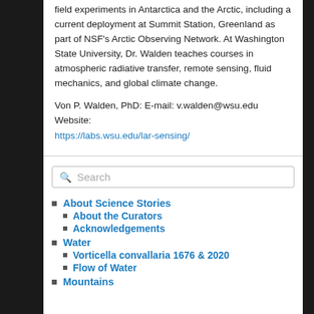field experiments in Antarctica and the Arctic, including a current deployment at Summit Station, Greenland as part of NSF's Arctic Observing Network. At Washington State University, Dr. Walden teaches courses in atmospheric radiative transfer, remote sensing, fluid mechanics, and global climate change.
Von P. Walden, PhD: E-mail: v.walden@wsu.edu Website: https://labs.wsu.edu/lar-sensing/
About Science Stories
About the Curators
Acknowledgements
Water
Vorticella convallaria 1676 & 2020
Flow of Water
Mountains